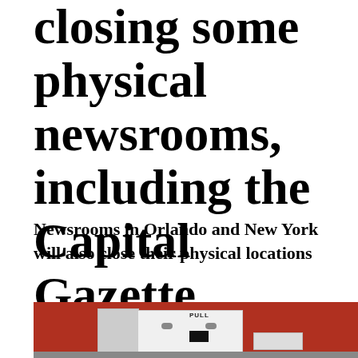closing some physical newsrooms, including the Capital Gazette
Newsrooms in Orlando and New York will also close their physical locations
[Figure (photo): Photo of a newspaper vending machine / newsstand with a red body and white panel, appearing to be outdoors on pavement]